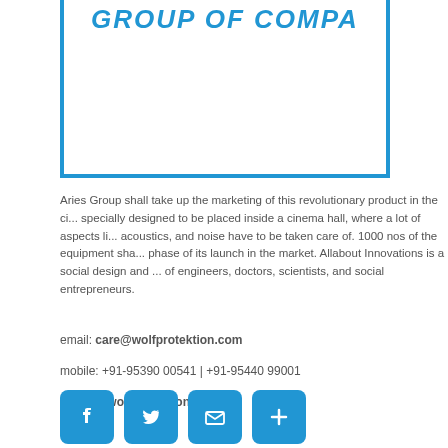GROUP OF COMPA…
Aries Group shall take up the marketing of this revolutionary product in the ci... specially designed to be placed inside a cinema hall, where a lot of aspects li... acoustics, and noise have to be taken care of. 1000 nos of the equipment sha... phase of its launch in the market. Allabout Innovations is a social design and ... of engineers, doctors, scientists, and social entrepreneurs.
email: care@wolfprotektion.com
mobile: +91-95390 00541 | +91-95440 99001
website: wolfprotektion.com
[Figure (other): Social media icons: Facebook, Twitter, Email, Share (blue rounded square buttons)]